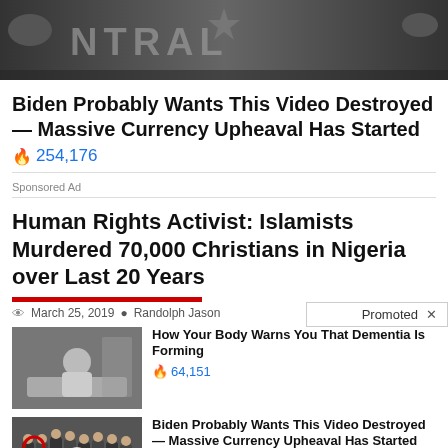[Figure (photo): CIA logo/seal in background, grayscale with partial text 'NTRAL']
Biden Probably Wants This Video Destroyed — Massive Currency Upheaval Has Started
🔥 254,176
Sponsored Ad
Human Rights Activist: Islamists Murdered 70,000 Christians in Nigeria over Last 20 Years
March 25, 2019  •  Randolph Jason
Promoted  X
[Figure (photo): Person sitting on hospital bed, medical setting]
How Your Body Warns You That Dementia Is Forming
🔥 64,151
[Figure (photo): Group of men in suits standing in a circle, CIA seal floor visible, red circle highlight]
Biden Probably Wants This Video Destroyed — Massive Currency Upheaval Has Started
🔥 254,189